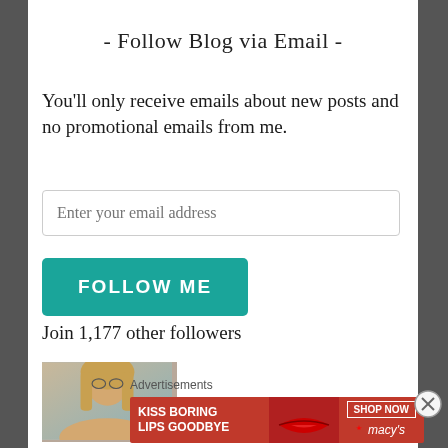- Follow Blog via Email -
You'll only receive emails about new posts and no promotional emails from me.
Enter your email address
FOLLOW ME
Join 1,177 other followers
[Figure (photo): Partial photo of a woman with blonde hair against a blurred landscape background]
Advertisements
[Figure (infographic): Macy's advertisement banner: 'KISS BORING LIPS GOODBYE' with a woman wearing red lipstick and a SHOP NOW button with the Macy's star logo]